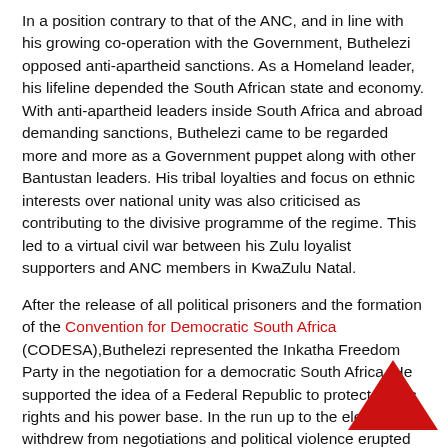In a position contrary to that of the ANC, and in line with his growing co-operation with the Government, Buthelezi opposed anti-apartheid sanctions. As a Homeland leader, his lifeline depended the South African state and economy. With anti-apartheid leaders inside South Africa and abroad demanding sanctions, Buthelezi came to be regarded more and more as a Government puppet along with other Bantustan leaders. His tribal loyalties and focus on ethnic interests over national unity was also criticised as contributing to the divisive programme of the regime. This led to a virtual civil war between his Zulu loyalist supporters and ANC members in KwaZulu Natal.
After the release of all political prisoners and the formation of the Convention for Democratic South Africa (CODESA),Buthelezi represented the Inkatha Freedom Party in the negotiation for a democratic South Africa. He supported the idea of a Federal Republic to protect ethnic rights and his power base. In the run up to the election he withdrew from negotiations and political violence erupted once more between IFP and ANC supporters. Just before the first democratic election he reconsidered, and precipitated a last minute rush to include the Inkatha Freedom Party (IFP) on the ballot papers.